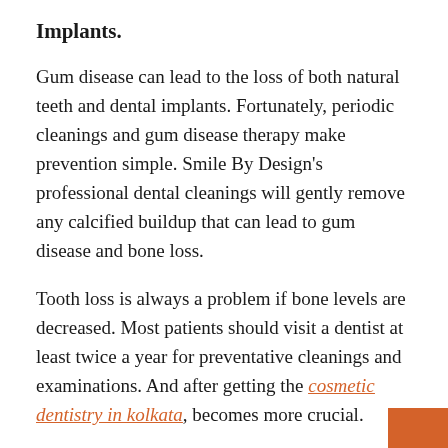Implants.
Gum disease can lead to the loss of both natural teeth and dental implants. Fortunately, periodic cleanings and gum disease therapy make prevention simple. Smile By Design’s professional dental cleanings will gently remove any calcified buildup that can lead to gum disease and bone loss.
Tooth loss is always a problem if bone levels are decreased. Most patients should visit a dentist at least twice a year for preventative cleanings and examinations. And after getting the cosmetic dentistry in kolkata, becomes more crucial.
If you have gum disease, the dentist may see you every three months until the issue is under cont[cut off]